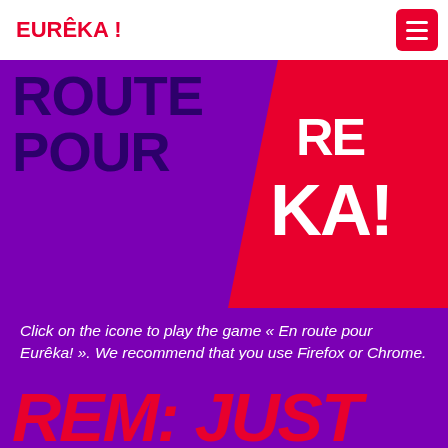EURÊKA!
[Figure (illustration): Purple background hero section with large dark purple text 'ROUTE POUR' and a red diagonal banner with white text 'RE KA!']
Click on the icone to play the game « En route pour Eurêka! ». We recommend that you use Firefox or Chrome. The game is not compatible with touch pads.
REM: JUST